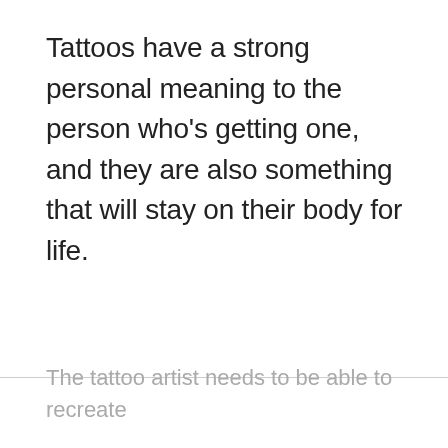Tattoos have a strong personal meaning to the person who's getting one, and they are also something that will stay on their body for life.
The tattoo artist needs to be able to recreate